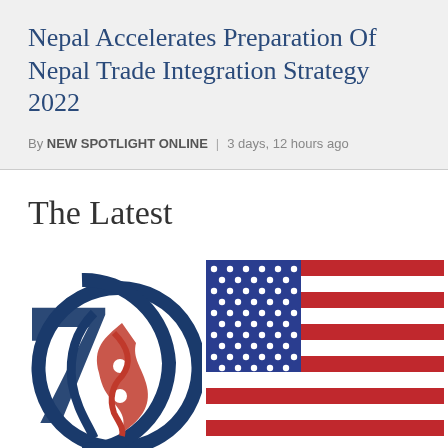Nepal Accelerates Preparation Of Nepal Trade Integration Strategy 2022
By NEW SPOTLIGHT ONLINE | 3 days, 12 hours ago
The Latest
[Figure (logo): 75th anniversary logo with Nepal flag motif — navy blue numeral 7, red and blue numeral 5 with Nepali flag design inside a circular arc]
[Figure (illustration): American flag showing the canton with white stars on dark blue field and red and white horizontal stripes]